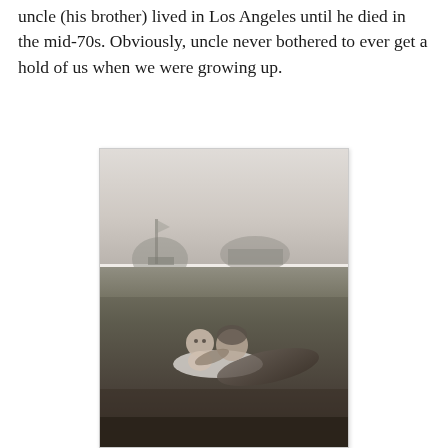uncle (his brother) lived in Los Angeles until he died in the mid-70s. Obviously, uncle never bothered to ever get a hold of us when we were growing up.
[Figure (photo): Black and white photograph showing a man lying on grass outdoors with a baby sitting in front of him. Buildings or structures are visible in the background against a light sky.]